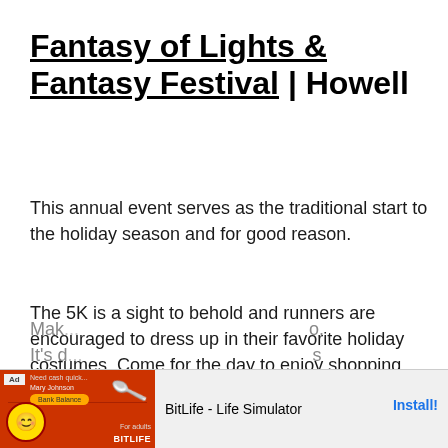Fantasy of Lights & Fantasy Festival | Howell
This annual event serves as the traditional start to the holiday season and for good reason.
The 5K is a sight to behold and runners are encouraged to dress up in their favorite holiday costumes. Come for the day to enjoy shopping with local vendors and grab a cup of coffee or hot chocolate to stay warm.
Mak... o.
It's d...
[Figure (screenshot): Mobile advertisement banner for BitLife - Life Simulator app with Install button, showing a red game screenshot with emoji character and sperm icon]